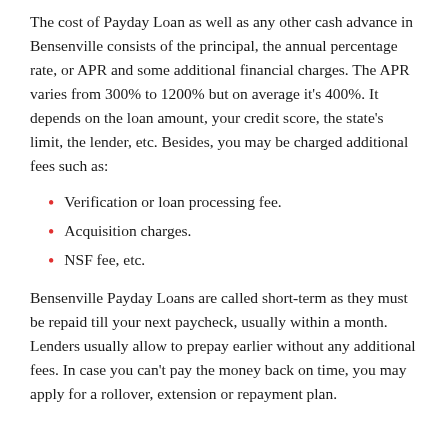The cost of Payday Loan as well as any other cash advance in Bensenville consists of the principal, the annual percentage rate, or APR and some additional financial charges. The APR varies from 300% to 1200% but on average it's 400%. It depends on the loan amount, your credit score, the state's limit, the lender, etc. Besides, you may be charged additional fees such as:
Verification or loan processing fee.
Acquisition charges.
NSF fee, etc.
Bensenville Payday Loans are called short-term as they must be repaid till your next paycheck, usually within a month. Lenders usually allow to prepay earlier without any additional fees. In case you can't pay the money back on time, you may apply for a rollover, extension or repayment plan.